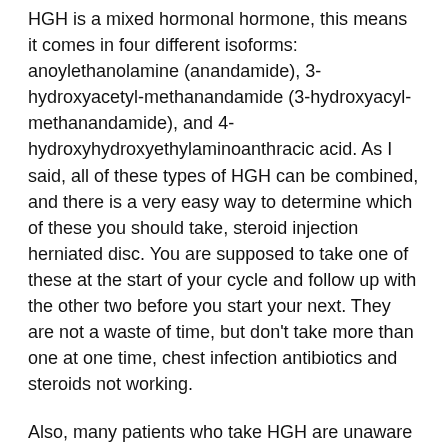HGH is a mixed hormonal hormone, this means it comes in four different isoforms: anoylethanolamine (anandamide), 3-hydroxyacetyl-methanandamide (3-hydroxyacyl-methanandamide), and 4-hydroxyhydroxyethylaminoanthracic acid. As I said, all of these types of HGH can be combined, and there is a very easy way to determine which of these you should take, steroid injection herniated disc. You are supposed to take one of these at the start of your cycle and follow up with the other two before you start your next. They are not a waste of time, but don't take more than one at one time, chest infection antibiotics and steroids not working.
Also, many patients who take HGH are unaware of the different forms of it. They simply use the one form, but the form is of very little use to those suffering from erectile dysfunction.